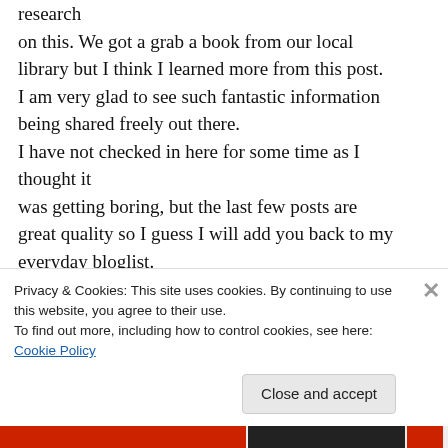research on this. We got a grab a book from our local library but I think I learned more from this post. I am very glad to see such fantastic information being shared freely out there. I have not checked in here for some time as I thought it was getting boring, but the last few posts are great quality so I guess I will add you back to my everyday bloglist. You deserve it friend 🙂
Privacy & Cookies: This site uses cookies. By continuing to use this website, you agree to their use. To find out more, including how to control cookies, see here: Cookie Policy
Close and accept